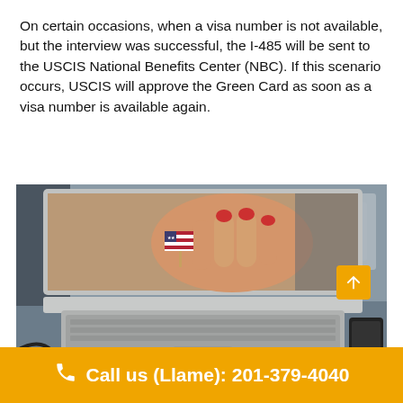On certain occasions, when a visa number is not available, but the interview was successful, the I-485 will be sent to the USCIS National Benefits Center (NBC). If this scenario occurs, USCIS will approve the Green Card as soon as a visa number is available again.
[Figure (photo): A laptop on a wooden desk displaying a close-up photo of a hand holding a small American flag pin. A smartphone is visible to the right of the laptop. There is also a cable visible in the bottom-left area.]
Call us (Llame): 201-379-4040